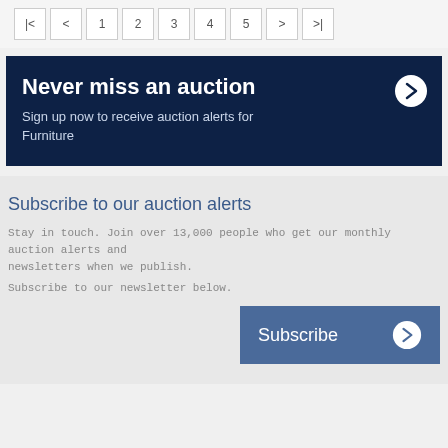[Figure (other): Pagination control with buttons: |<, <, 1, 2, 3, 4, 5, >, >|]
[Figure (infographic): Dark navy blue banner with bold white text 'Never miss an auction', subtitle 'Sign up now to receive auction alerts for Furniture', and a right-arrow circle icon]
Subscribe to our auction alerts
Stay in touch.  Join over 13,000 people who get our monthly auction alerts and newsletters when we publish.
Subscribe to our newsletter below.
[Figure (other): Steel blue 'Subscribe' button with right-arrow circle icon]